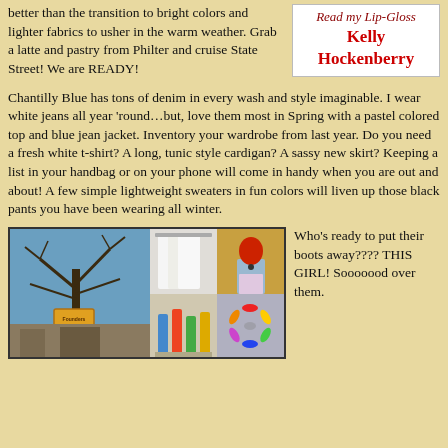better than the transition to bright colors and lighter fabrics to usher in the warm weather. Grab a latte and pastry from Philter and cruise State Street!  We are READY!
[Figure (logo): Read my Lip-Gloss Kelly Hockenberry logo in red cursive and bold text on white background with grey border]
Chantilly Blue has tons of denim in every wash and style imaginable.  I wear white jeans all year ‘round…but, love them most in Spring with a pastel colored top and blue jean jacket.  Inventory your wardrobe from last year.  Do you need a fresh white t-shirt?  A long, tunic style cardigan?  A sassy new skirt?  Keeping a list in your handbag or on your phone will come in handy when you are out and about!  A few simple lightweight sweaters in fun colors will liven up those black pants you have been wearing all winter.
[Figure (photo): Photo collage of three images: large left image of a tree and street sign, top-right of white fabric/clothing display, bottom-right split showing colorful bottles and colorful shoes arranged in a circle]
Who’s ready to put their boots away???? THIS GIRL! Sooooood over them.